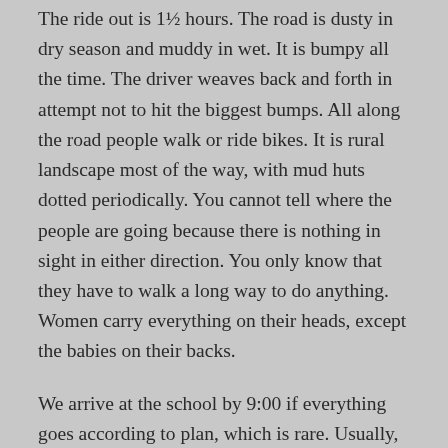The ride out is 1½ hours. The road is dusty in dry season and muddy in wet. It is bumpy all the time. The driver weaves back and forth in attempt not to hit the biggest bumps. All along the road people walk or ride bikes. It is rural landscape most of the way, with mud huts dotted periodically. You cannot tell where the people are going because there is nothing in sight in either direction. You only know that they have to walk a long way to do anything. Women carry everything on their heads, except the babies on their backs.
We arrive at the school by 9:00 if everything goes according to plan, which is rare. Usually, our conference starts a bit late since we have to wait for the participants to walk to school or ride in a van because of the distance. The rest trickle in as the day goes along, joining in whenever they arrive.